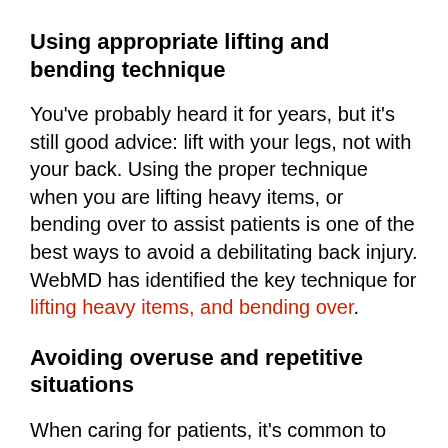Using appropriate lifting and bending technique
You've probably heard it for years, but it's still good advice: lift with your legs, not with your back. Using the proper technique when you are lifting heavy items, or bending over to assist patients is one of the best ways to avoid a debilitating back injury. WebMD has identified the key technique for lifting heavy items, and bending over.
Avoiding overuse and repetitive situations
When caring for patients, it's common to perform repetitive tasks. Repeated